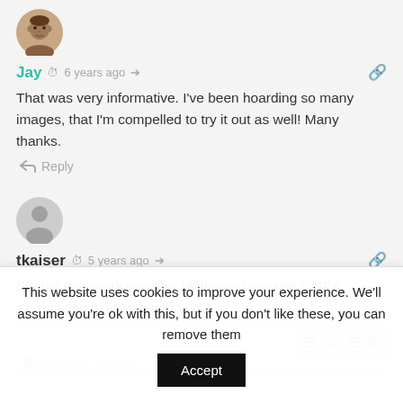[Figure (photo): User avatar for Jay — circular profile photo showing a person's face]
Jay  6 years ago
That was very informative. I've been hoarding so many images, that I'm compelled to try it out as well! Many thanks.
Reply
[Figure (illustration): Generic grey user avatar icon for tkaiser]
tkaiser  5 years ago
Should now work on other platforms than x86 (SSE4 instructions used) when doing
[Figure (screenshot): Partial screenshot of a code block editor with toolbar icons]
This website uses cookies to improve your experience. We'll assume you're ok with this, but if you don't like these, you can remove them
Accept